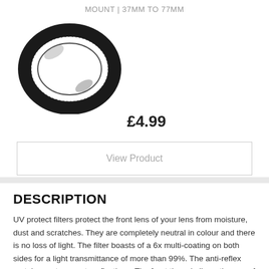MOUNT | 37MM TO 77MM
[Figure (photo): A black metal step-up ring adapter (37mm to 77mm) shown at an angle against a white background.]
£4.99
View Product
DESCRIPTION
UV protect filters protect the front lens of your lens from moisture, dust and scratches. They are completely neutral in colour and there is no loss of light. The filter boasts of a 6x multi-coating on both sides for a light transmittance of more than 99%. The anti-reflex metal mount prevents reflections. The front thread allows the use of other accessories. Available in diameters from 37 to 95 mm.